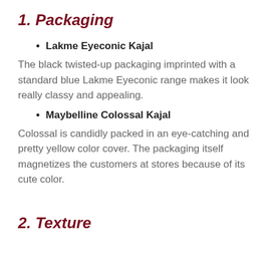1. Packaging
Lakme Eyeconic Kajal
The black twisted-up packaging imprinted with a standard blue Lakme Eyeconic range makes it look really classy and appealing.
Maybelline Colossal Kajal
Colossal is candidly packed in an eye-catching and pretty yellow color cover. The packaging itself magnetizes the customers at stores because of its cute color.
2. Texture